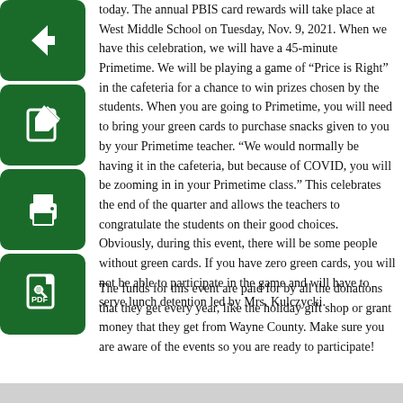[Figure (illustration): Green square icon with white left-arrow (back button)]
[Figure (illustration): Green square icon with white pencil/edit symbol]
[Figure (illustration): Green square icon with white printer symbol]
[Figure (illustration): Green square icon with white PDF/document symbol]
today. The annual PBIS card rewards will take place at West Middle School on Tuesday, Nov. 9, 2021. When we have this celebration, we will have a 45-minute Primetime. We will be playing a game of “Price is Right” in the cafeteria for a chance to win prizes chosen by the students. When you are going to Primetime, you will need to bring your green cards to purchase snacks given to you by your Primetime teacher. “We would normally be having it in the cafeteria, but because of COVID, you will be zooming in in your Primetime class.” This celebrates the end of the quarter and allows the teachers to congratulate the students on their good choices. Obviously, during this event, there will be some people without green cards. If you have zero green cards, you will not be able to participate in the game and will have to serve lunch detention led by Mrs. Kulczycki.
The funds for this event are paid for by all the donations that they get every year, like the holiday gift shop or grant money that they get from Wayne County. Make sure you are aware of the events so you are ready to participate!